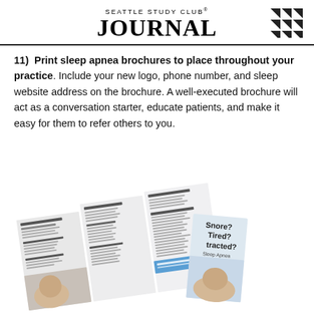SEATTLE STUDY CLUB® JOURNAL
11) Print sleep apnea brochures to place throughout your practice. Include your new logo, phone number, and sleep website address on the brochure. A well-executed brochure will act as a conversation starter, educate patients, and make it easy for them to refer others to you.
[Figure (photo): Photo of a trifold sleep apnea brochure unfolded showing panels with headings like 'Understanding Sleep Apnea', 'Are You at Risk?', 'Home Sleep Test', 'Oral Appliance Therapy', 'Oral Appliance Advantages', 'At Risk Checklist', 'Common Symptoms', and a separate folded brochure cover reading 'Snore? Tired? Distracted? Sleep Apnea' with an image of a sleeping man.]